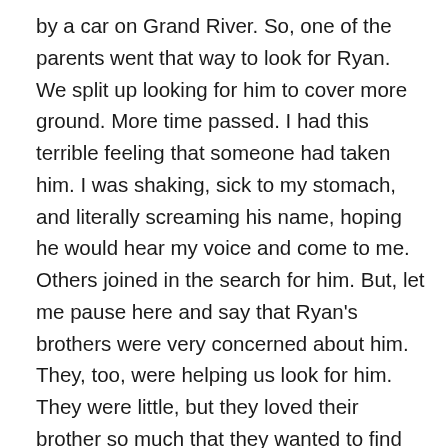by a car on Grand River. So, one of the parents went that way to look for Ryan. We split up looking for him to cover more ground. More time passed. I had this terrible feeling that someone had taken him. I was shaking, sick to my stomach, and literally screaming his name, hoping he would hear my voice and come to me. Others joined in the search for him. But, let me pause here and say that Ryan's brothers were very concerned about him. They, too, were helping us look for him. They were little, but they loved their brother so much that they wanted to find him as much as we did. Eventually, someone came up to us and said that a little boy had been found by police and was at the security tent that was on the opposite side of the festival. We ran there. When I was reunited with Ryan, grateful tears sprang from my eyes. He had seen a puppy and went to pet it and somehow in that moment of us